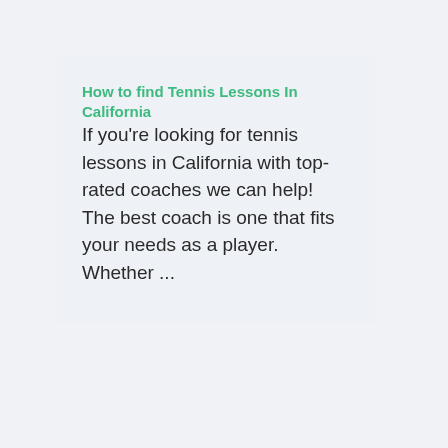How to find Tennis Lessons In California
If you're looking for tennis lessons in California with top-rated coaches we can help! The best coach is one that fits your needs as a player. Whether ...